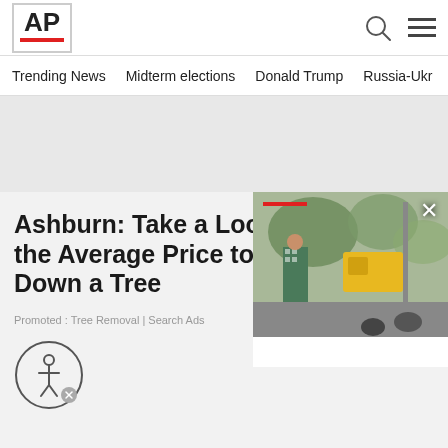AP
Trending News
Midterm elections
Donald Trump
Russia-Ukr
Ashburn: Take a Look at the Average Price to Cut Down a Tree
Promoted : Tree Removal | Search Ads
[Figure (photo): Street scene with people in patterned clothing, yellow construction vehicle, motorcycles and urban infrastructure]
[Figure (logo): Circular accessibility icon with person symbol and small x close button]